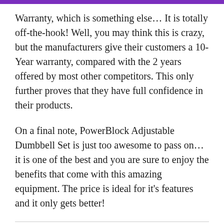Warranty, which is something else… It is totally off-the-hook! Well, you may think this is crazy, but the manufacturers give their customers a 10-Year warranty, compared with the 2 years offered by most other competitors. This only further proves that they have full confidence in their products.
On a final note, PowerBlock Adjustable Dumbbell Set is just too awesome to pass on… it is one of the best and you are sure to enjoy the benefits that come with this amazing equipment. The price is ideal for it's features and it only gets better!
Previous Post
Pulling Apart SVGs Components Using React-three-